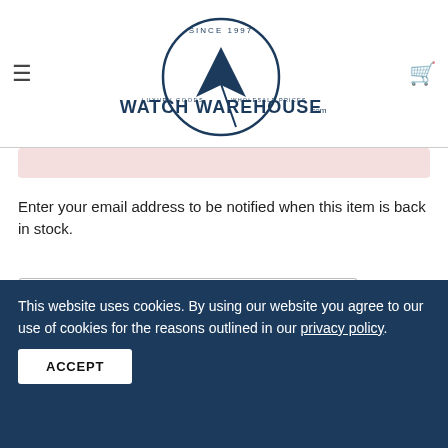Watch Warehouse - Luxury Goods, Wholesale Prices - Since 1997
Enter your email address to be notified when this item is back in stock.
Email Address
Notify Me
This website uses cookies. By using our website you agree to our use of cookies for the reasons outlined in our privacy policy.
ACCEPT